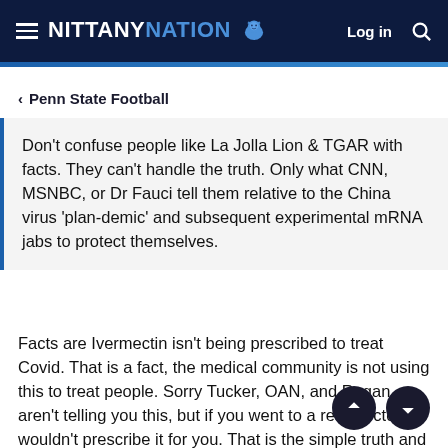NITTANY NATION — Log in [search]
< Penn State Football
Don't confuse people like La Jolla Lion & TGAR with facts. They can't handle the truth. Only what CNN, MSNBC, or Dr Fauci tell them relative to the China virus 'plan-demic' and subsequent experimental mRNA jabs to protect themselves.
Facts are Ivermectin isn't being prescribed to treat Covid. That is a fact, the medical community is not using this to treat people. Sorry Tucker, OAN, and Rogan aren't telling you this, but if you went to a real Doctor, he wouldn't prescribe it for you. That is the simple truth and it bothers you guys so much it's funny. Maybe you get your advice from the TV or YouTube....that makes sense for how GD stupid you are. Talk to your real doctor about that drug... see if he recommends it. I'll wait.